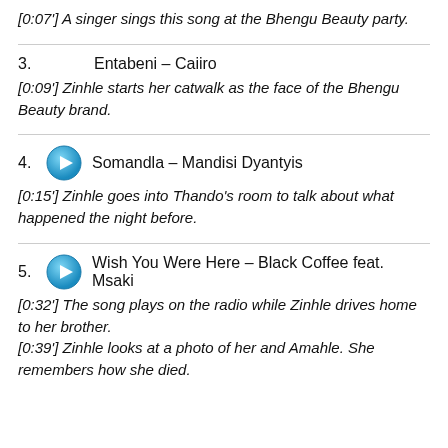[0:07'] A singer sings this song at the Bhengu Beauty party.
3.   Entabeni – Caiiro
[0:09'] Zinhle starts her catwalk as the face of the Bhengu Beauty brand.
4.   Somandla – Mandisi Dyantyis
[0:15'] Zinhle goes into Thando's room to talk about what happened the night before.
5.   Wish You Were Here – Black Coffee feat. Msaki
[0:32'] The song plays on the radio while Zinhle drives home to her brother.
[0:39'] Zinhle looks at a photo of her and Amahle. She remembers how she died.